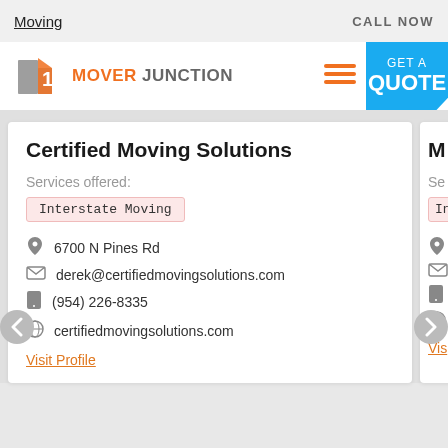Moving   CALL NOW
[Figure (logo): Mover Junction logo with orange and gray building icon and text MOVER JUNCTION]
GET A QUOTE
Certified Moving Solutions
Services offered:
Interstate Moving
6700 N Pines Rd
derek@certifiedmovingsolutions.com
(954) 226-8335
certifiedmovingsolutions.com
Visit Profile
M
Se
In
Vis